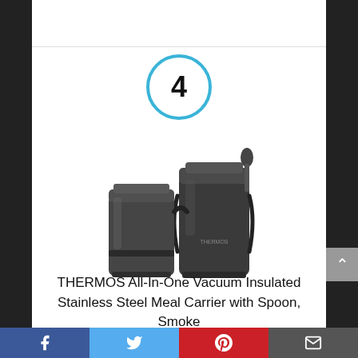[Figure (other): Number 4 inside a blue circle, indicating list rank]
[Figure (photo): THERMOS All-In-One Vacuum Insulated Stainless Steel Meal Carrier with Spoon in Smoke color — dark gunmetal colored food jar set with carrying strap and spoon]
THERMOS All-In-One Vacuum Insulated Stainless Steel Meal Carrier with Spoon, Smoke
[Figure (infographic): Social sharing bar with Facebook, Twitter, Pinterest, and Email buttons]